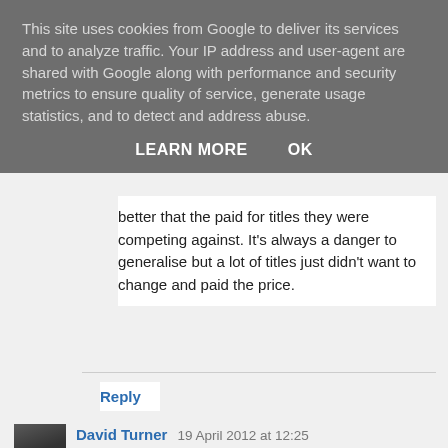This site uses cookies from Google to deliver its services and to analyze traffic. Your IP address and user-agent are shared with Google along with performance and security metrics to ensure quality of service, generate usage statistics, and to detect and address abuse.
LEARN MORE   OK
better that the paid for titles they were competing against. It's always a danger to generalise but a lot of titles just didn't want to change and paid the price.
Reply
David Turner  19 April 2012 at 12:25
Excellent piece and a sad story. Well done to Archent and Tindle
Reply